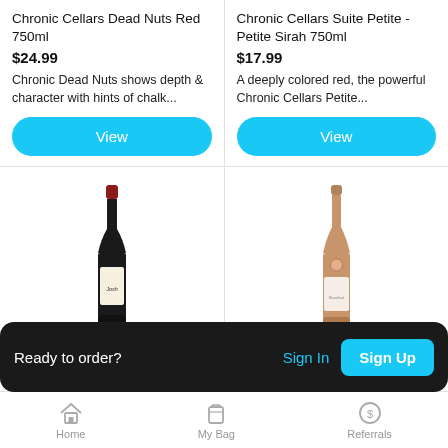Chronic Cellars Dead Nuts Red 750ml
$24.99
Chronic Dead Nuts shows depth & character with hints of chalk...
View
Chronic Cellars Suite Petite - Petite Sirah 750ml
$17.99
A deeply colored red, the powerful Chronic Cellars Petite...
View
[Figure (photo): Red wine bottle (Josh)]
[Figure (photo): Rose wine bottle (Barefoot)]
Jo... 75... $10.99
$10.99 (right column partially visible)
Ready to order?
Sign In
Sign Up
Home
My Bag
Referrals